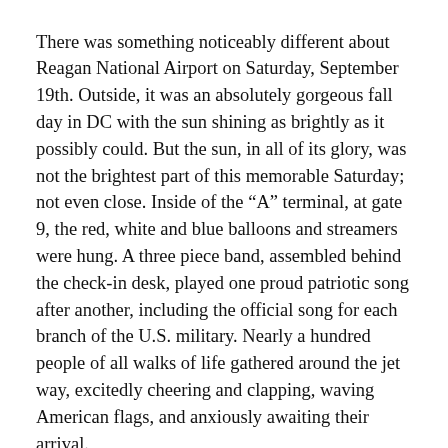There was something noticeably different about Reagan National Airport on Saturday, September 19th. Outside, it was an absolutely gorgeous fall day in DC with the sun shining as brightly as it possibly could. But the sun, in all of its glory, was not the brightest part of this memorable Saturday; not even close. Inside of the “A” terminal, at gate 9, the red, white and blue balloons and streamers were hung. A three piece band, assembled behind the check-in desk, played one proud patriotic song after another, including the official song for each branch of the U.S. military. Nearly a hundred people of all walks of life gathered around the jet way, excitedly cheering and clapping, waving American flags, and anxiously awaiting their arrival.
But who were they? Who could possibly deserve such dramatic fanfare on a Saturday morning at DCA? Maybe Colin Powell and Bill Clinton decided to take a commercial flight into DC just for kicks? Nope. Way Better. The answer has yet to receive adequate...